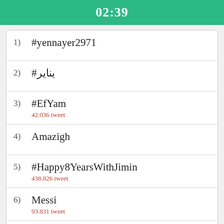02:39
1) #yennayer2971
2) #يناير
3) #EfYam
42.036 tweet
4) Amazigh
5) #Happy8YearsWithJimin
438.826 tweet
6) Messi
93.831 tweet
7) assegas ameggaz
8) -
9) -